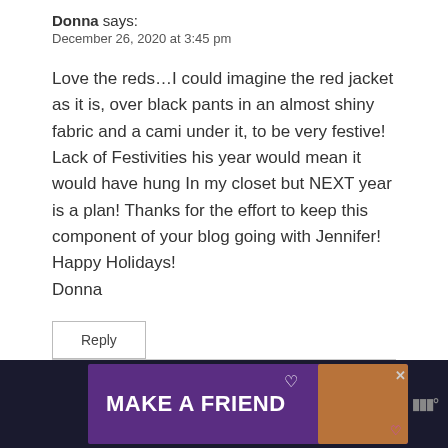Donna says:
December 26, 2020 at 3:45 pm
Love the reds…I could imagine the red jacket as it is, over black pants in an almost shiny fabric and a cami under it, to be very festive! Lack of Festivities his year would mean it would have hung In my closet but NEXT year is a plan! Thanks for the effort to keep this component of your blog going with Jennifer! Happy Holidays!
Donna
Reply
[Figure (infographic): Advertisement banner at bottom of page showing 'MAKE A FRIEND' text with a dog image on purple background, with close button and Wm logo]